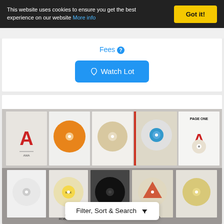This website uses cookies to ensure you get the best experience on our website More info
Got it!
Fees
Watch Lot
[Figure (photo): A collection of vinyl 7-inch single records in paper sleeves, arranged in two rows. Top row shows 5 records with various labels including 'PAGE ONE'. Bottom row shows 5 records with labels including 'MICK ROBERTSON'.]
Filter, Sort & Search